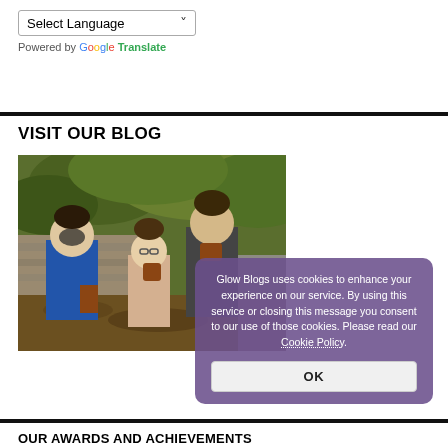Select Language (dropdown) — Powered by Google Translate
VISIT OUR BLOG
[Figure (photo): Three children outdoors in woodland setting, one wearing a mask, holding items, surrounded by trees and foliage]
Glow Blogs uses cookies to enhance your experience on our service. By using this service or closing this message you consent to our use of those cookies. Please read our Cookie Policy.
OK
OUR AWARDS AND ACHIEVEMENTS